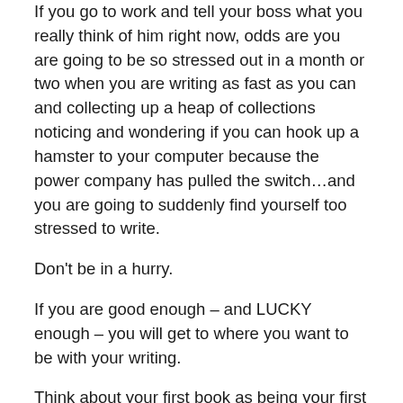If you go to work and tell your boss what you really think of him right now, odds are you are going to be so stressed out in a month or two when you are writing as fast as you can and collecting up a heap of collections noticing and wondering if you can hook up a hamster to your computer because the power company has pulled the switch…and you are going to suddenly find yourself too stressed to write.
Don't be in a hurry.
If you are good enough – and LUCKY enough – you will get to where you want to be with your writing.
Think about your first book as being your first date with the most beautiful woman on the planet who knows how to cook. This ISN'T the time to start making forever plans and calling up a caterer and rolling up pennies for an